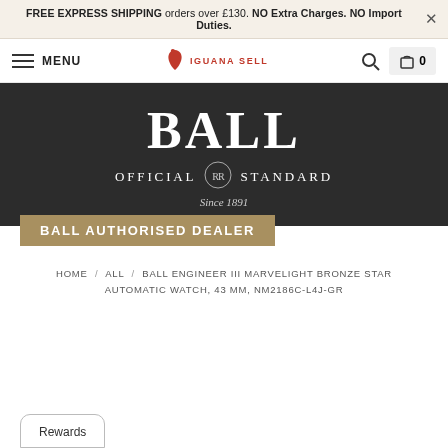FREE EXPRESS SHIPPING orders over £130. NO Extra Charges. NO Import Duties.
[Figure (logo): Iguana Sell logo with red bird icon and navigation bar including MENU, search icon, and cart with 0 items]
[Figure (logo): Ball Watch Official Standard Since 1891 dark banner with gold authorized dealer bar]
BALL AUTHORISED DEALER
HOME / ALL / BALL ENGINEER III MARVELIGHT BRONZE STAR AUTOMATIC WATCH, 43 MM, NM2186C-L4J-GR
Rewards